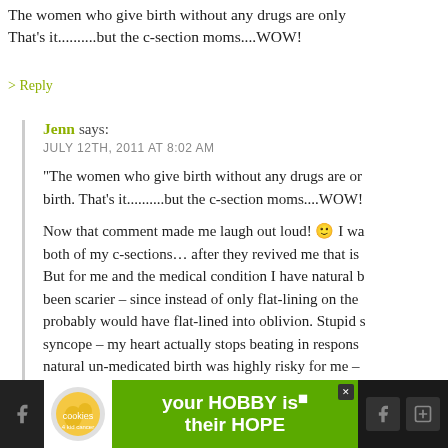The women who give birth without any drugs are only... That's it..........but the c-section moms....WOW!
> Reply
Jenn says: JULY 12TH, 2011 AT 8:02 AM
“The women who give birth without any drugs are or... birth. That’s it..........but the c-section moms....WOW!
Now that comment made me laugh out loud! 🙂 I wa... both of my c-sections… after they revived me that is... But for me and the medical condition I have natural b... been scarier – since instead of only flat-lining on the... probably would have flat-lined into oblivion. Stupid s... syncope – my heart actually stops beating in respons... natural un-medicated birth was highly risky for me –... the doctors already want to put a pacemaker in, appa... hereditary – and there are lots of only children born... died during childbirth back in the day as a part of my
[Figure (infographic): Advertisement banner at the bottom showing cookies for kid cancer charity logo and 'your HOBBY is their HOPE' text on green background with social media icons]